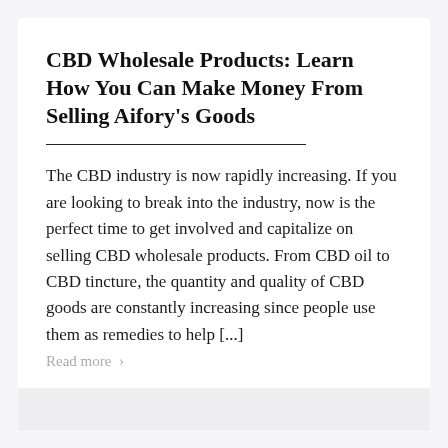CBD Wholesale Products: Learn How You Can Make Money From Selling Aifory’s Goods
The CBD industry is now rapidly increasing. If you are looking to break into the industry, now is the perfect time to get involved and capitalize on selling CBD wholesale products. From CBD oil to CBD tincture, the quantity and quality of CBD goods are constantly increasing since people use them as remedies to help [...]
Read more ›